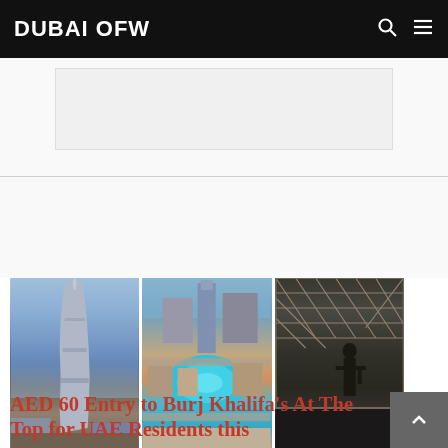DUBAI OFW
[Figure (photo): Composite of three images: Burj Khalifa tower against blue sky (left), aerial view of Dubai downtown with teal fountain lake (center), person standing at glass observation deck with geometric lattice ceiling (right)]
AED 60 Entry to Burj Khalifa's At The Top for UAE Residents this